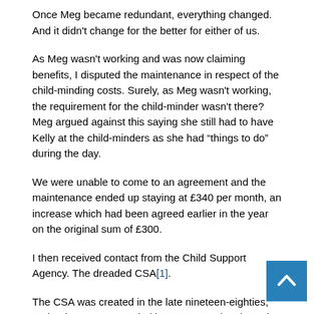Once Meg became redundant, everything changed. And it didn't change for the better for either of us.
As Meg wasn't working and was now claiming benefits, I disputed the maintenance in respect of the child-minding costs. Surely, as Meg wasn't working, the requirement for the child-minder wasn't there? Meg argued against this saying she still had to have Kelly at the child-minders as she had “things to do” during the day.
We were unable to come to an agreement and the maintenance ended up staying at £340 per month, an increase which had been agreed earlier in the year on the original sum of £300.
I then received contact from the Child Support Agency. The dreaded CSA[1].
The CSA was created in the late nineteen-eighties, under the government led by Margaret Thatcher. The CSA's main remit was to make non-resident parents responsible for the financial w... being of their children.